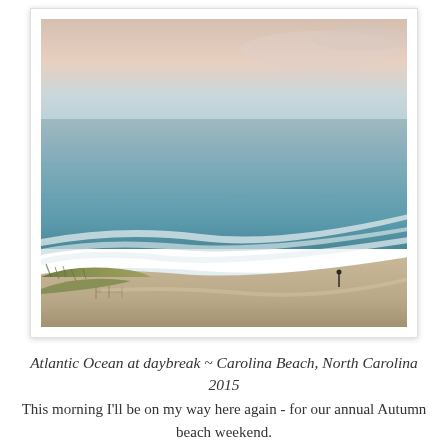[Figure (photo): Aerial view of Atlantic Ocean at daybreak showing calm sea with gentle waves rolling onto a sandy beach, with dunes and sparse vegetation in the foreground. A lone figure stands on the beach. The sky is a soft pinkish-peach gradient near the horizon.]
Atlantic Ocean at daybreak ~ Carolina Beach, North Carolina 2015
This morning I'll be on my way here again - for our annual Autumn beach weekend.
Weather promises to be perfect for beach combing